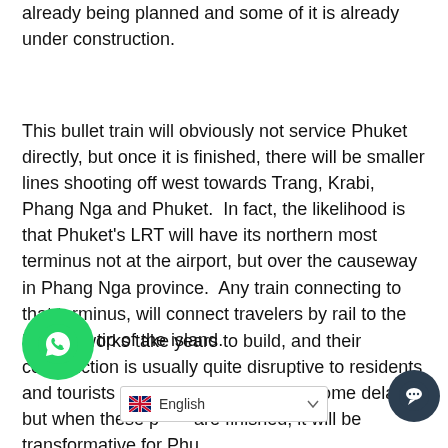already being planned and some of it is already under construction.
This bullet train will obviously not service Phuket directly, but once it is finished, there will be smaller lines shooting off west towards Trang, Krabi, Phang Nga and Phuket.  In fact, the likelihood is that Phuket's LRT will have its northern most terminus not at the airport, but over the causeway in Phang Nga province.  Any train connecting to that terminus, will connect travelers by rail to the southern tip of the island.
Rail networks take years to build, and their construction is usually quite disruptive to residents and tourists alike. W to expect some delays, but when these p are finished, it will be transformative for Phu